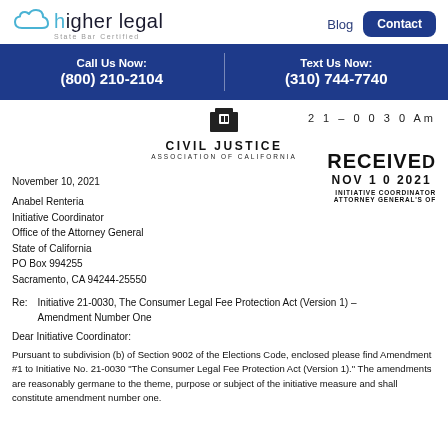[Figure (logo): Higher Legal logo with cloud icon and 'State Bar Certified' tagline]
Blog
Contact
Call Us Now: (800) 210-2104
Text Us Now: (310) 744-7740
[Figure (logo): Civil Justice Association of California logo with stylized building icon]
21 - 0 0 3 0 Am
RECEIVED
NOV 10 2021
INITIATIVE COORDINATOR
ATTORNEY GENERAL'S O
November 10, 2021
Anabel Renteria
Initiative Coordinator
Office of the Attorney General
State of California
PO Box 994255
Sacramento, CA 94244-25550
Re:	Initiative 21-0030, The Consumer Legal Fee Protection Act (Version 1) – Amendment Number One
Dear Initiative Coordinator:
Pursuant to subdivision (b) of Section 9002 of the Elections Code, enclosed please find Amendment #1 to Initiative No. 21-0030 "The Consumer Legal Fee Protection Act (Version 1)." The amendments are reasonably germane to the theme, purpose or subject of the initiative measure and shall constitute amendment number one.